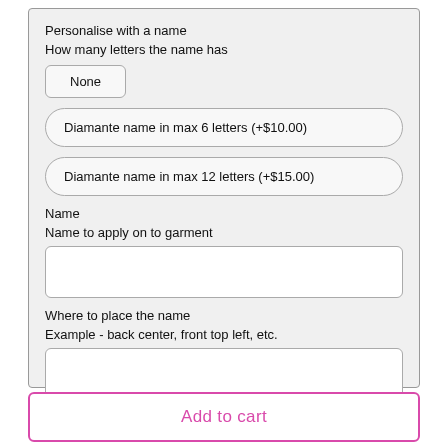Personalise with a name
How many letters the name has
None
Diamante name in max 6 letters (+$10.00)
Diamante name in max 12 letters (+$15.00)
Name
Name to apply on to garment
Where to place the name
Example - back center, front top left, etc.
Add to cart